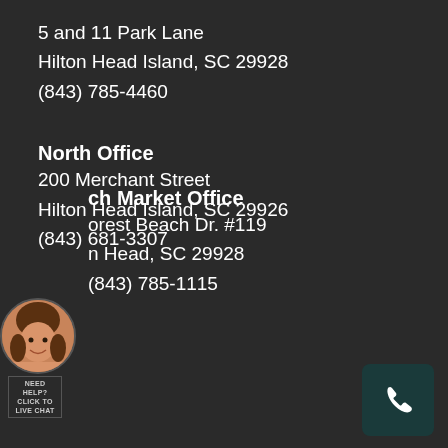5 and 11 Park Lane
Hilton Head Island, SC 29928
(843) 785-4460
North Office
200 Merchant Street
Hilton Head Island, SC 29926
(843) 681-3307
ch Market Office
orest Beach Dr. #119
n Head, SC 29928
(843) 785-1115
[Figure (photo): Avatar photo of a woman, circular crop, lower left corner]
NEED HELP?
CLICK TO
LIVE CHAT
[Figure (illustration): Phone handset icon button, dark teal rounded rectangle, bottom right corner]